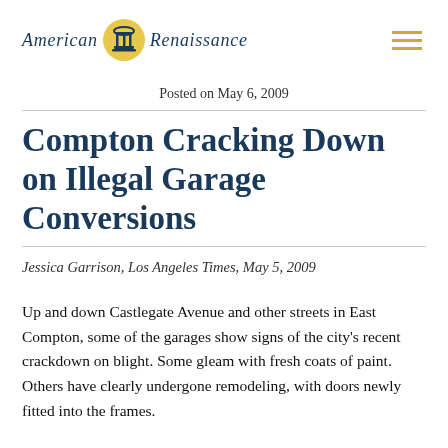American Renaissance
Posted on May 6, 2009
Compton Cracking Down on Illegal Garage Conversions
Jessica Garrison, Los Angeles Times, May 5, 2009
Up and down Castlegate Avenue and other streets in East Compton, some of the garages show signs of the city's recent crackdown on blight. Some gleam with fresh coats of paint. Others have clearly undergone remodeling, with doors newly fitted into the frames.